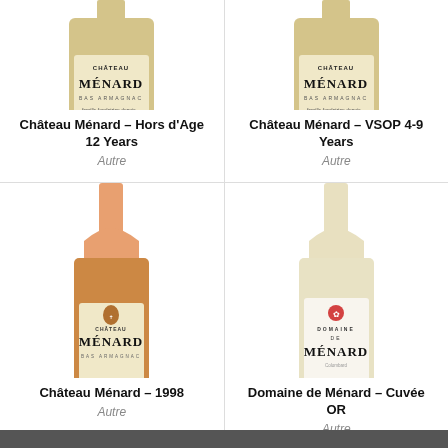[Figure (photo): Château Ménard bottle top portion with gold label, Bas Armagnac, left product]
[Figure (photo): Château Ménard VSOP bottle top portion with gold label, Bas Armagnac, right product]
Château Ménard – Hors d'Age 12 Years
Autre
Château Ménard – VSOP 4-9 Years
Autre
[Figure (photo): Château Ménard 1998 bottle with amber spirit visible, gold label with crest, Bas Armagnac]
[Figure (photo): Domaine de Ménard bottle with pale/clear spirit visible, white label with red rose emblem]
Château Ménard – 1998
Autre
Domaine de Ménard – Cuvée OR
Autre